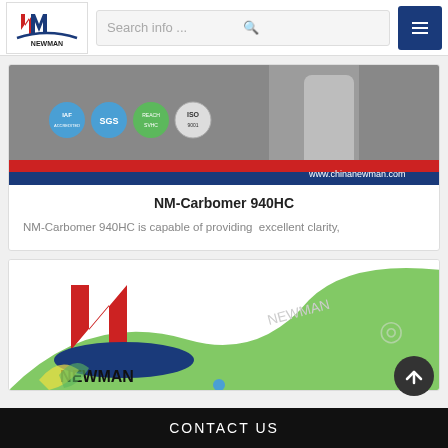NEWMAN | Search info...
[Figure (photo): Product image showing a bottle/container with IAF, ISO and other certification logos. URL shown: www.chinanewman.com]
NM-Carbomer 940HC
NM-Carbomer 940HC is capable of providing  excellent clarity,
[Figure (logo): Newman company logo with red stylized N and blue M letter, green swoosh, text NEWMAN below. Watermark text visible in background.]
CONTACT US